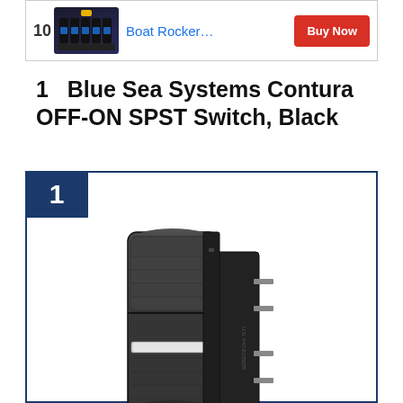[Figure (other): Advertisement banner showing boat rocker switches product image with 'Boat Rocker...' text and a red 'Buy Now' button]
1   Blue Sea Systems Contura OFF-ON SPST Switch, Black
[Figure (photo): Product photo of Blue Sea Systems Contura OFF-ON SPST Switch in Black color, showing a dark rocker switch with electrical terminals on the side]